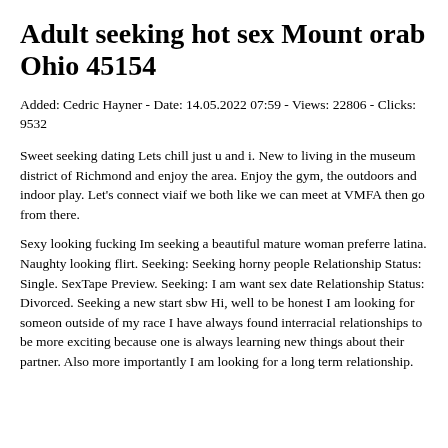Adult seeking hot sex Mount orab Ohio 45154
Added: Cedric Hayner - Date: 14.05.2022 07:59 - Views: 22806 - Clicks: 9532
Sweet seeking dating Lets chill just u and i. New to living in the museum district of Richmond and enjoy the area. Enjoy the gym, the outdoors and indoor play. Let's connect viaif we both like we can meet at VMFA then go from there.
Sexy looking fucking Im seeking a beautiful mature woman preferre latina. Naughty looking flirt. Seeking: Seeking horny people Relationship Status: Single. SexTape Preview. Seeking: I am want sex date Relationship Status: Divorced. Seeking a new start sbw Hi, well to be honest I am looking for someon outside of my race I have always found interracial relationships to be more exciting because one is always learning new things about their partner. Also more importantly I am looking for a long term relationship.